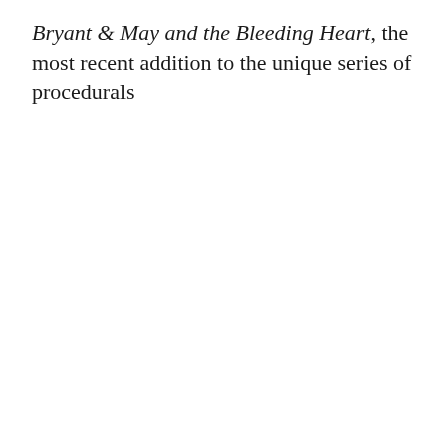Bryant & May and the Bleeding Heart, the most recent addition to the unique series of procedurals